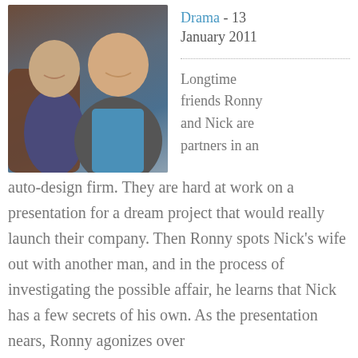[Figure (photo): Two men posing together smiling; one in a dark striped shirt, one in a grey blazer over a blue shirt.]
Drama - 13 January 2011
Longtime friends Ronny and Nick are partners in an auto-design firm. They are hard at work on a presentation for a dream project that would really launch their company. Then Ronny spots Nick's wife out with another man, and in the process of investigating the possible affair, he learns that Nick has a few secrets of his own. As the presentation nears, Ronny agonizes over